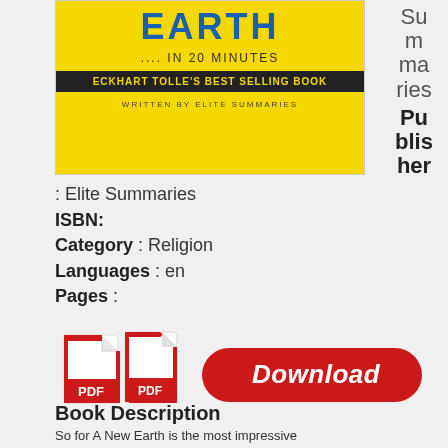[Figure (illustration): Book cover for a summary of 'A New Earth' by Eckhart Tolle. Yellow background with blue bold text 'EARTH', subtitle '.... IN 20 MINUTES', dark band with 'ECKHART TOLLE'S BEST SELLING BOOK', and 'WRITTEN BY ELITE SUMMARIES' at bottom.]
Summaries
Publisher
: Elite Summaries
ISBN:
Category : Religion
Languages : en
Pages :
[Figure (illustration): Red download button with PDF icon on the left and 'Download' text in white italic bold font on a red rounded rectangle button.]
Book Description
So for A New Earth is the most impressive